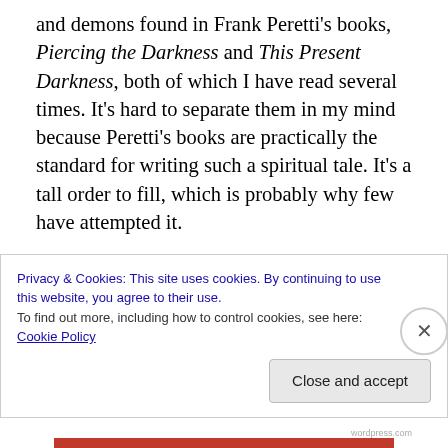and demons found in Frank Peretti's books, Piercing the Darkness and This Present Darkness, both of which I have read several times. It's hard to separate them in my mind because Peretti's books are practically the standard for writing such a spiritual tale. It's a tall order to fill, which is probably why few have attempted it.
Obviously I enjoyed the book because I read it in only a few days, despite my hectic schedule. So, it definitely passed the test, as far as I'm concerned. However, I can't give a fair review without mentioning the things I had
Privacy & Cookies: This site uses cookies. By continuing to use this website, you agree to their use.
To find out more, including how to control cookies, see here: Cookie Policy